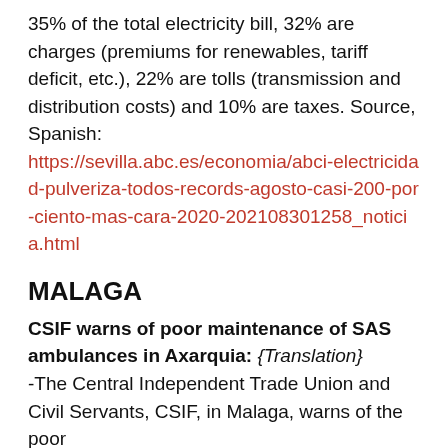35% of the total electricity bill, 32% are charges (premiums for renewables, tariff deficit, etc.), 22% are tolls (transmission and distribution costs) and 10% are taxes. Source, Spanish: https://sevilla.abc.es/economia/abci-electricidad-pulveriza-todos-records-agosto-casi-200-por-ciento-mas-cara-2020-202108301258_noticia.html
MALAGA
CSIF warns of poor maintenance of SAS ambulances in Axarquia: {Translation}
-The Central Independent Trade Union and Civil Servants, CSIF, in Malaga, warns of the poor